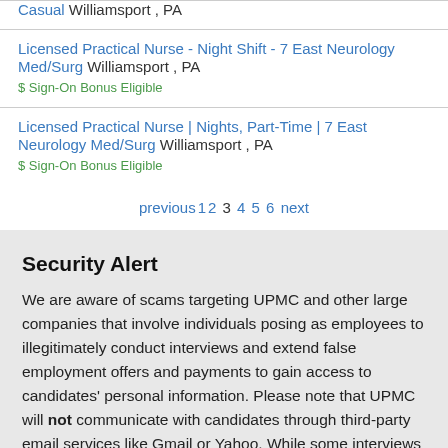Casual Williamsport , PA
Licensed Practical Nurse - Night Shift - 7 East Neurology Med/Surg Williamsport , PA
$ Sign-On Bonus Eligible
Licensed Practical Nurse | Nights, Part-Time | 7 East Neurology Med/Surg Williamsport , PA
$ Sign-On Bonus Eligible
previous 1 2 3 4 5 6 next
Security Alert
We are aware of scams targeting UPMC and other large companies that involve individuals posing as employees to illegitimately conduct interviews and extend false employment offers and payments to gain access to candidates' personal information. Please note that UPMC will not communicate with candidates through third-party email services like Gmail or Yahoo. While some interviews may take place via a video conferencing service, UPMC Talent Acquisition will not conduct